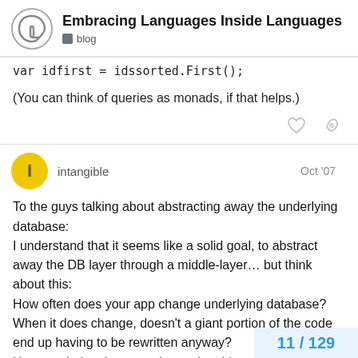Embracing Languages Inside Languages — blog
var idfirst = idssorted.First();
(You can think of queries as monads, if that helps.)
intangible  Oct '07
To the guys talking about abstracting away the underlying database:
I understand that it seems like a solid goal, to abstract away the DB layer through a middle-layer… but think about this:
How often does your app change underlying database?
When it does change, doesn't a giant portion of the code end up having to be rewritten anyway?
How much time is spent abstracting things to the point where you see no SQL, would that time be better
What kindof performance hits do you take
11 / 129